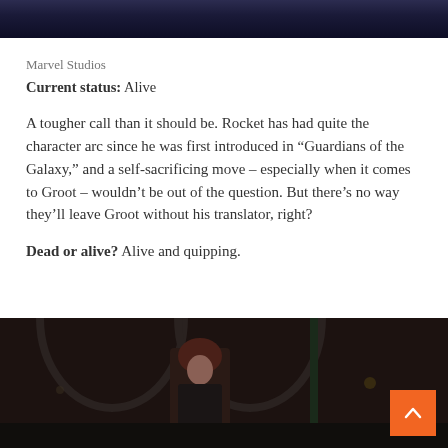[Figure (photo): Dark blue/purple cinematic still from a Marvel movie at the top of the page]
Marvel Studios
Current status: Alive
A tougher call than it should be. Rocket has had quite the character arc since he was first introduced in “Guardians of the Galaxy,” and a self-sacrificing move – especially when it comes to Groot – wouldn’t be out of the question. But there’s no way they’ll leave Groot without his translator, right?
Dead or alive? Alive and quipping.
[Figure (photo): Dark cinematic still showing a red-haired woman (Scarlet Witch/Wanda) in a train station or large hall with arched windows]